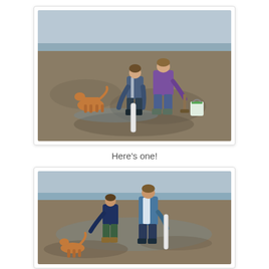[Figure (photo): Two people bending over on a muddy tidal flat beach, appearing to be digging or extracting something with a white PVC pipe tube. A brown/tan dog stands nearby watching. A green bucket is visible in the background. Overcast sky.]
Here's one!
[Figure (photo): Two people on a muddy tidal flat beach, one bending over and one standing holding a white PVC pipe tube. A brown/tan dog is at the lower left. Overcast sky with ocean/water visible in the background.]